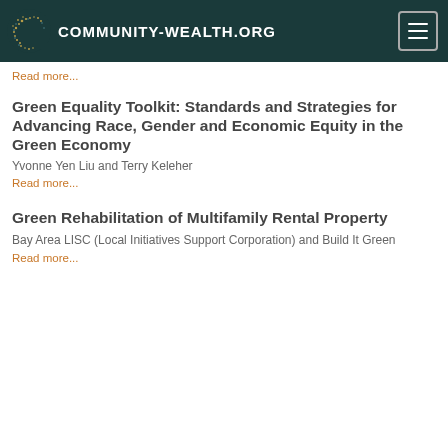COMMUNITY-WEALTH.ORG
Read more...
Green Equality Toolkit: Standards and Strategies for Advancing Race, Gender and Economic Equity in the Green Economy
Yvonne Yen Liu and Terry Keleher
Read more...
Green Rehabilitation of Multifamily Rental Property
Bay Area LISC (Local Initiatives Support Corporation) and Build It Green
Read more...